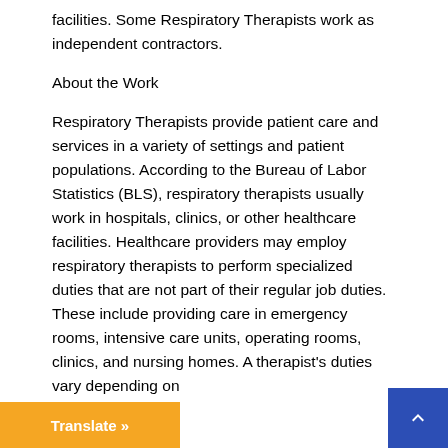facilities. Some Respiratory Therapists work as independent contractors.
About the Work
Respiratory Therapists provide patient care and services in a variety of settings and patient populations. According to the Bureau of Labor Statistics (BLS), respiratory therapists usually work in hospitals, clinics, or other healthcare facilities. Healthcare providers may employ respiratory therapists to perform specialized duties that are not part of their regular job duties. These include providing care in emergency rooms, intensive care units, operating rooms, clinics, and nursing homes. A therapist's duties vary depending on